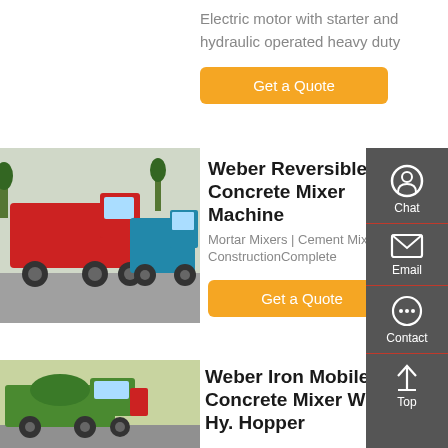Electric motor with starter and hydraulic operated heavy duty
Get a Quote
[Figure (photo): Red and blue dump trucks parked in a lot]
Weber Reversible Concrete Mixer Machine
Mortar Mixers | Cement Mix... ConstructionComplete
Get a Quote
[Figure (photo): Green and red concrete mixer truck]
Weber Iron Mobile Concrete Mixer With Hy. Hopper